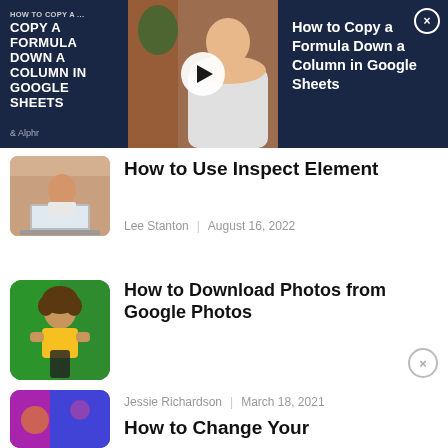[Figure (screenshot): Video ad banner for 'How to Copy a Formula Down a Column in Google Sheets' with thumbnail, play button, and close button]
[Figure (photo): Woman looking at laptop, article thumbnail for 'How to Use Inspect Element']
How to Use Inspect Element
Lee Stanton   August 16, 2022
[Figure (photo): Woman in yellow shirt holding phone against green background, thumbnail for 'How to Download Photos from Google Photos']
How to Download Photos from Google Photos
Jessie Richardson   March 18, 2021
[Figure (photo): Partial thumbnail with purple/colorful background for 'How to Change Your...' article]
How to Change Your